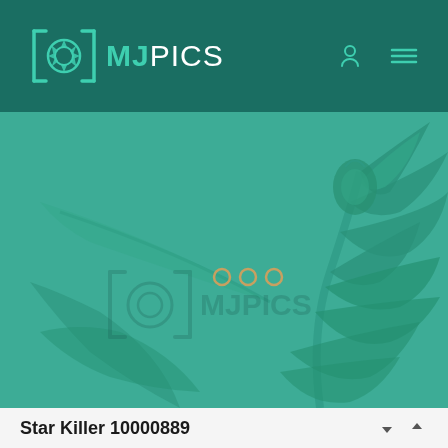MJPICS
[Figure (photo): Cannabis plant (Star Killer) photographed against a teal/green background with MJPICS watermark overlay and three circular carousel indicators]
Star Killer 10000889